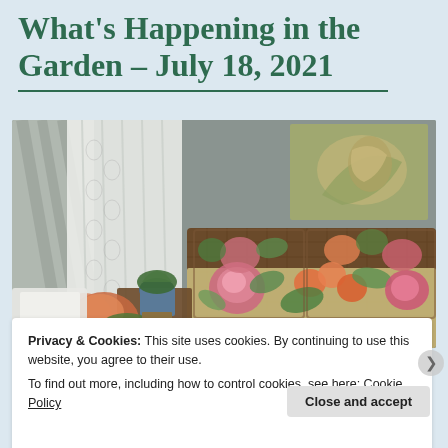What's Happening in the Garden – July 18, 2021
[Figure (photo): Indoor sunroom or garden room with wicker sofa covered in floral tropical print pillows and cushions. Sheer lace curtains on the left, a painting of a seashell on the wall in the upper right, and potted plants including orange begonias in the lower left foreground.]
Privacy & Cookies: This site uses cookies. By continuing to use this website, you agree to their use.
To find out more, including how to control cookies, see here: Cookie Policy
Close and accept